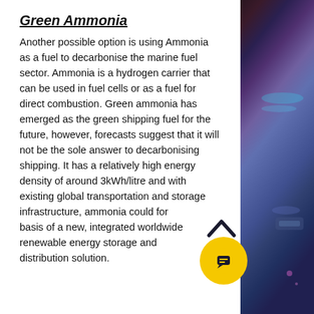Green Ammonia
Another possible option is using Ammonia as a fuel to decarbonise the marine fuel sector. Ammonia is a hydrogen carrier that can be used in fuel cells or as a fuel for direct combustion. Green ammonia has emerged as the green shipping fuel for the future, however, forecasts suggest that it will not be the sole answer to decarbonising shipping. It has a relatively high energy density of around 3kWh/litre and with existing global transportation and storage infrastructure, ammonia could form the basis of a new, integrated worldwide renewable energy storage and distribution solution.
[Figure (photo): Background photograph on the right side of the page showing an abstract space or underwater scene with purple, blue, and teal hues.]